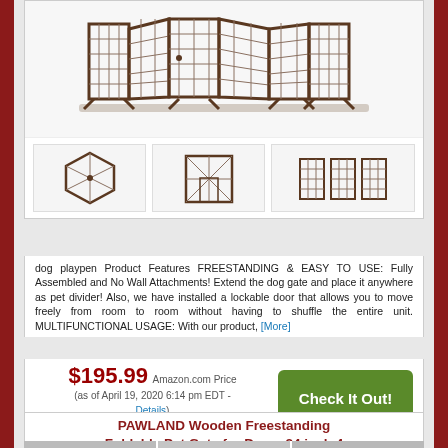[Figure (photo): Main product image of a wooden freestanding foldable dog gate/playpen, shown extended, with dark espresso finish and metal wire panels]
[Figure (photo): Thumbnail: dog gate configured as a hexagonal playpen]
[Figure (photo): Thumbnail: dog gate configured as a square enclosure]
[Figure (photo): Thumbnail: dog gate extended flat as a baby/pet gate]
dog playpen Product Features FREESTANDING & EASY TO USE: Fully Assembled and No Wall Attachments! Extend the dog gate and place it anywhere as pet divider! Also, we have installed a lockable door that allows you to move freely from room to room without having to shuffle the entire unit. MULTIFUNCTIONAL USAGE: With our product, [More]
$195.99 Amazon.com Price (as of April 19, 2020 6:14 pm EDT - Details)
+ Add To Wish List
PAWLAND Wooden Freestanding Foldable Pet Gate for Dogs, 24 inch 4
[Figure (photo): Strip of product thumbnail images for PAWLAND gate at bottom of page]